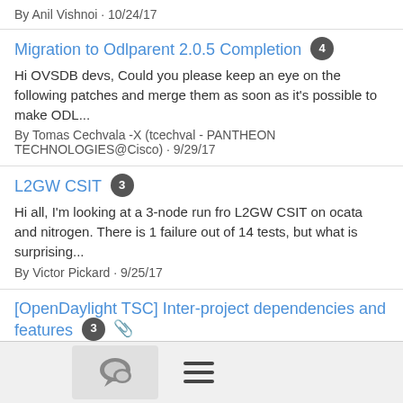By Anil Vishnoi · 10/24/17
Migration to Odlparent 2.0.5 Completion [4]
Hi OVSDB devs, Could you please keep an eye on the following patches and merge them as soon as it's possible to make ODL...
By Tomas Cechvala -X (tcechval - PANTHEON TECHNOLOGIES@Cisco) · 9/29/17
L2GW CSIT [3]
Hi all, I'm looking at a 3-node run fro L2GW CSIT on ocata and nitrogen. There is 1 failure out of 14 tests, but what is surprising...
By Victor Pickard · 9/25/17
[OpenDaylight TSC] Inter-project dependencies and features [3] [attachment]
Added ovsdb-dev. Since ovsdb doesn't provide a feature that includes utils.southbound-utils (or utils.mdsal-utils), so those...
By Isaku Yamahata · 9/22/17
Queries about upper limit of resources that can be
[Figure (screenshot): Bottom navigation bar with chat bubble icon button and hamburger menu icon]